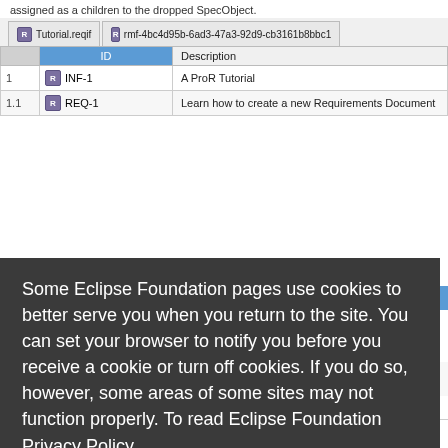assigned as a children to the dropped SpecObject.
[Figure (screenshot): Eclipse ProR requirements editor showing a table with columns ID and Description. Tab bar shows Tutorial.reqif and rmf-4bc4d95b-6ad3-47a3-92d9-cb3161b8bbc1 tabs. Table rows: 1 INF-1 'A ProR Tutorial', 1.1 REQ-1 'Learn how to create a new Requirements Document', 1.2 REQ-2 'Customizing the Labels'. A cookie consent overlay covers the lower portion with text about Eclipse Foundation cookie policy and Decline/Allow cookies buttons.]
Some Eclipse Foundation pages use cookies to better serve you when you return to the site. You can set your browser to notify you before you receive a cookie or turn off cookies. If you do so, however, some areas of some sites may not function properly. To read Eclipse Foundation Privacy Policy click here.